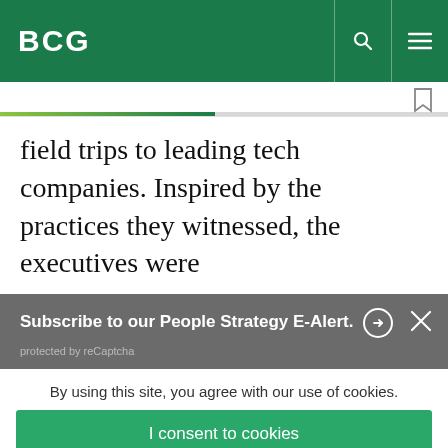BCG
field trips to leading tech companies. Inspired by the practices they witnessed, the executives were
Subscribe to our People Strategy E-Alert. protected by reCaptcha
By using this site, you agree with our use of cookies.
I consent to cookies
Want to know more?
Read our Cookie Policy